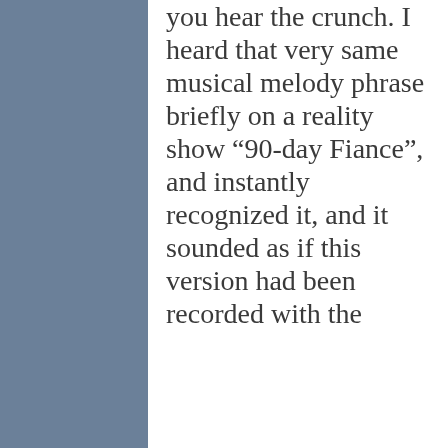you hear the crunch. I heard that very same musical melody phrase briefly on a reality show “90-day Fiance”, and instantly recognized it, and it sounded as if this version had been recorded with the